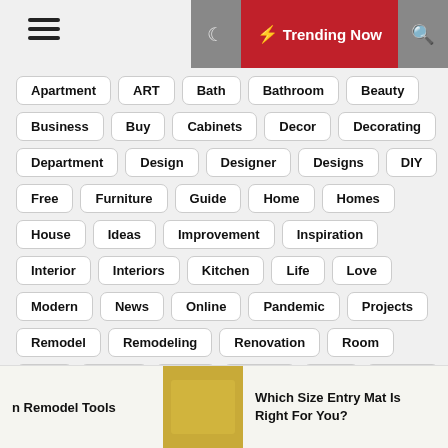☰  ☾  ⚡ Trending Now  🔍
Apartment
ART
Bath
Bathroom
Beauty
Business
Buy
Cabinets
Decor
Decorating
Department
Design
Designer
Designs
DIY
Free
Furniture
Guide
Home
Homes
House
Ideas
Improvement
Inspiration
Interior
Interiors
Kitchen
Life
Love
Modern
News
Online
Pandemic
Projects
Remodel
Remodeling
Renovation
Room
Sale
Space
Style
Stylish
Tips
Trends
Wikipedia
n Remodel Tools  |  [image of yellow mat]  |  Which Size Entry Mat Is Right For You?